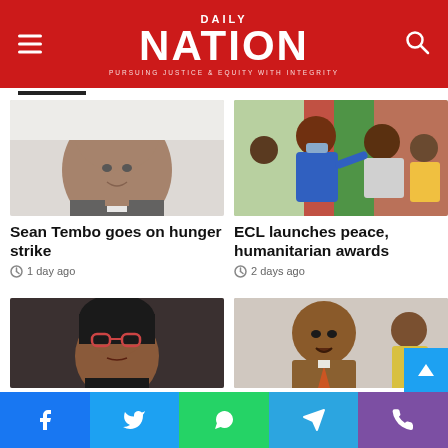DAILY NATION — PURSUING JUSTICE & EQUITY WITH INTEGRITY
[Figure (photo): Portrait of Sean Tembo, a man in a suit smiling]
Sean Tembo goes on hunger strike
1 day ago
[Figure (photo): A man in blue shirt administering something to a woman at an outdoor event with red and green decorations; ECL launches peace, humanitarian awards]
ECL launches peace, humanitarian awards
2 days ago
[Figure (photo): Woman with red glasses looking at camera]
[Figure (photo): Man in brown suit with orange tie speaking]